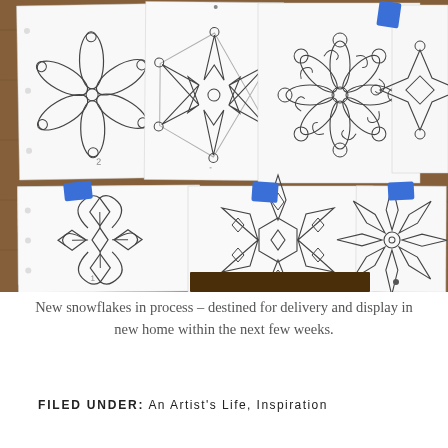[Figure (photo): Photograph of multiple hand-drawn snowflake designs on white paper sheets pinned to a wooden surface with blue painter's tape. Top row shows four snowflake variations including petal/flower styles and geometric star patterns. Bottom row shows three larger snowflake designs including scroll/swirl style, angular geometric snowflake, and pointed-petal style.]
New snowflakes in process – destined for delivery and display in new home within the next few weeks.
FILED UNDER: An Artist's Life, Inspiration